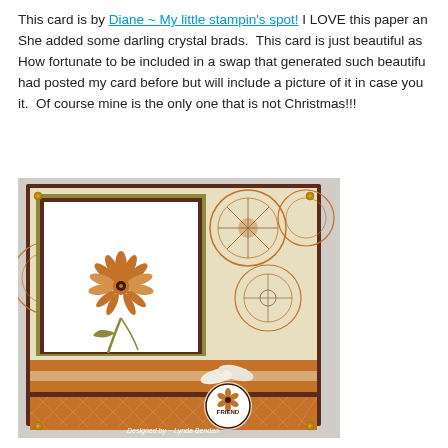This card is by Diane ~ My little stampin's spot! I LOVE this paper an She added some darling crystal brads.  This card is just beautiful as How fortunate to be included in a swap that generated such beautifu had posted my card before but will include a picture of it in case you it.  Of course mine is the only one that is not Christmas!!!
[Figure (photo): A handmade stamped card featuring an orange/rust-toned flower on a white panel layered on patterned paper with circular medallion designs. The card has a brown border, an orange stripe band with a ribbon and bow, and a circular 'FRIEND' emblem at the bottom right. Text at the bottom reads 'Designed by ~ Lynda Benden'.]